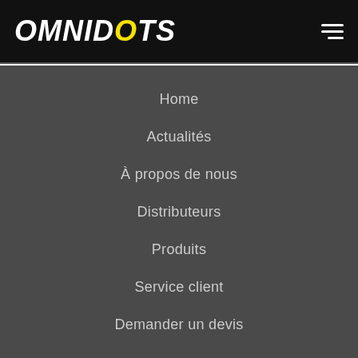OMNIDOTS
Home
Actualités
À propos de nous
Distributeurs
Produits
Service client
Demander un devis